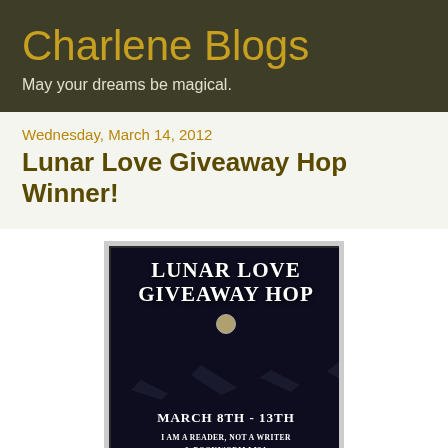Charlene Blogs
May your dreams be magical.
Wednesday, March 14, 2012
Lunar Love Giveaway Hop Winner!
[Figure (illustration): Promotional banner for Lunar Love Giveaway Hop, March 8th - 13th, hosted by I Am a Reader, Not a Writer & Bookworm Lisa, with dark night sky and mountain silhouette background]